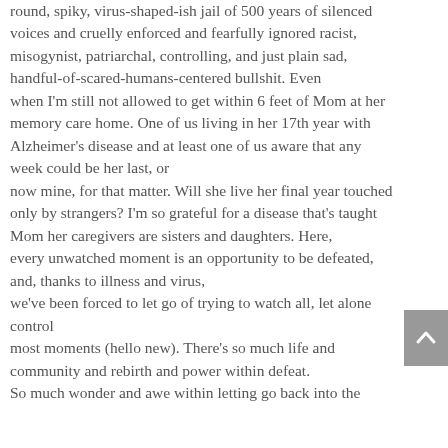round, spiky, virus-shaped-ish jail of 500 years of silenced voices and cruelly enforced and fearfully ignored racist, misogynist, patriarchal, controlling, and just plain sad, handful-of-scared-humans-centered bullshit. Even
when I'm still not allowed to get within 6 feet of Mom at her memory care home. One of us living in her 17th year with Alzheimer's disease and at least one of us aware that any week could be her last, or
now mine, for that matter. Will she live her final year touched only by strangers? I'm so grateful for a disease that's taught Mom her caregivers are sisters and daughters. Here,
every unwatched moment is an opportunity to be defeated, and, thanks to illness and virus,
we've been forced to let go of trying to watch all, let alone control
most moments (hello new). There's so much life and community and rebirth and power within defeat.
So much wonder and awe within letting go back into the